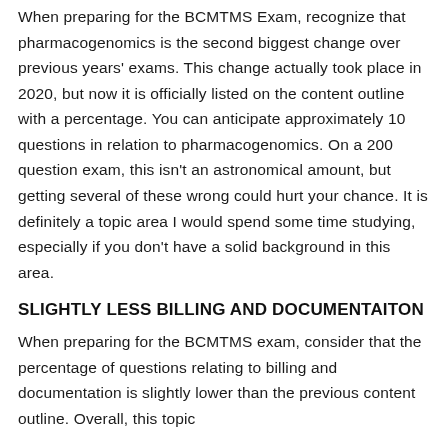When preparing for the BCMTMS Exam, recognize that pharmacogenomics is the second biggest change over previous years' exams. This change actually took place in 2020, but now it is officially listed on the content outline with a percentage. You can anticipate approximately 10 questions in relation to pharmacogenomics. On a 200 question exam, this isn't an astronomical amount, but getting several of these wrong could hurt your chance. It is definitely a topic area I would spend some time studying, especially if you don't have a solid background in this area.
SLIGHTLY LESS BILLING AND DOCUMENTAITON
When preparing for the BCMTMS exam, consider that the percentage of questions relating to billing and documentation is slightly lower than the previous content outline. Overall, this topic